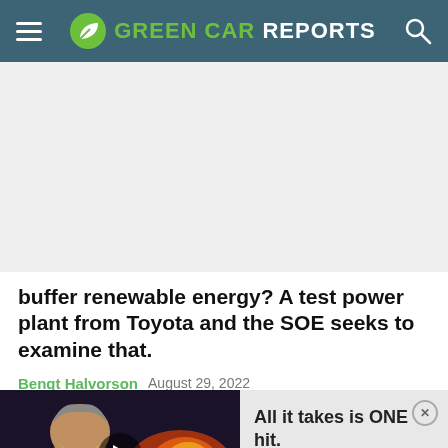GREEN CAR REPORTS
buffer renewable energy? A test power plant from Toyota and the SOE seeks to examine that.
Bengt Halvorson   August 29, 2022
[Figure (screenshot): Video thumbnail showing animated warrior character with play button overlay]
All it takes is ONE hit.